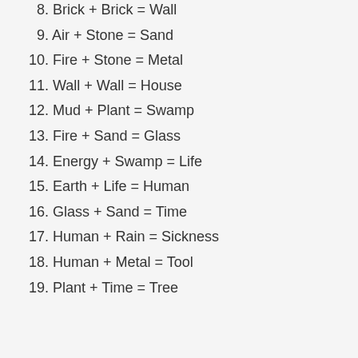8. Brick + Brick = Wall
9. Air + Stone = Sand
10. Fire + Stone = Metal
11. Wall + Wall = House
12. Mud + Plant = Swamp
13. Fire + Sand = Glass
14. Energy + Swamp = Life
15. Earth + Life = Human
16. Glass + Sand = Time
17. Human + Rain = Sickness
18. Human + Metal = Tool
19. Plant + Time = Tree